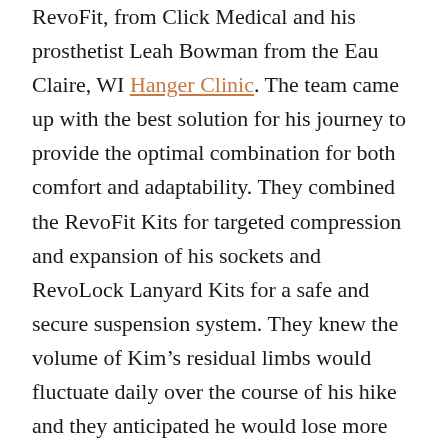RevoFit, from Click Medical and his prosthetist Leah Bowman from the Eau Claire, WI Hanger Clinic. The team came up with the best solution for his journey to provide the optimal combination for both comfort and adaptability. They combined the RevoFit Kits for targeted compression and expansion of his sockets and RevoLock Lanyard Kits for a safe and secure suspension system. They knew the volume of Kim's residual limbs would fluctuate daily over the course of his hike and they anticipated he would lose more weight.
“Every patient’s situation and needs are unique,” says Jaime Keiser, Director of Marketing. “The Click Medical team takes pride in working closely